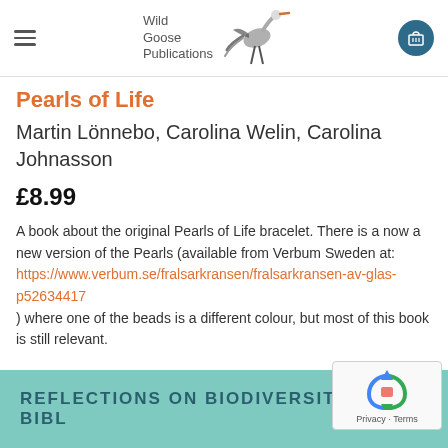Wild Goose Publications
Pearls of Life
Martin Lönnebo, Carolina Welin, Carolina Johnasson
£8.99
A book about the original Pearls of Life bracelet. There is a now a new version of the Pearls (available from Verbum Sweden at: https://www.verbum.se/fralsarkransen/fralsarkransen-av-glas-p52634417 ) where one of the beads is a different colour, but most of this book is still relevant.
[Figure (other): Teal banner with text REFLECTIONS ON BIODIVERSITY AND THE BIBLE partially visible, with reCAPTCHA overlay in the bottom right corner]